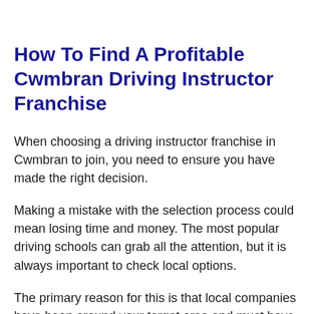How To Find A Profitable Cwmbran Driving Instructor Franchise
When choosing a driving instructor franchise in Cwmbran to join, you need to ensure you have made the right decision.
Making a mistake with the selection process could mean losing time and money. The most popular driving schools can grab all the attention, but it is always important to check local options.
The primary reason for this is that local companies have been around your target area and must have built a reputation with local people. The franchise contract is the first factor considered when settling for a driving instructor franchise agreement, but a steady supply of pupils should be a close